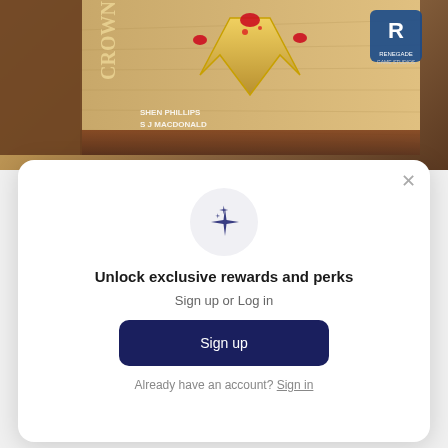[Figure (photo): Board game box showing a crown with red jewels on a map background. Text visible: 'CROWNS', 'SHEN PHILLIPS', 'S J MACDONALD', Renegade Game Studios logo.]
Unlock exclusive rewards and perks
Sign up or Log in
Sign up
Already have an account? Sign in